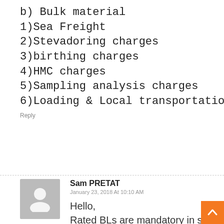b) Bulk material
1)Sea Freight
2)Stevadoring charges
3)birthing charges
4)HMC charges
5)Sampling analysis charges
6)Loading & Local transportation from PORT to wo
Reply
Sam PRETAT
January 23, 2018 At 10:10 AM
Hello,
Rated BLs are mandatory in some countries and forbidden in others.
Usually, shippers are not eager to ha